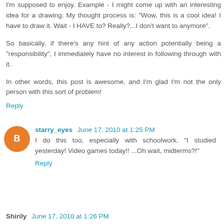I'm supposed to enjoy. Example - I might come up with an interesting idea for a drawing. My thought process is: "Wow, this is a cool idea! I have to draw it. Wait - I HAVE to? Really?...I don't want to anymore".
So basically, if there's any hint of any action potentially being a "responsibility", I immediately have no interest in following through with it.
In other words, this post is awesome, and I'm glad I'm not the only person with this sort of problem!
Reply
starry_eyes June 17, 2010 at 1:25 PM
I do this too, especially with schoolwork. "I studied yesterday! Video games today!! ...Oh wait, midterms?!"
Reply
Shirily June 17, 2010 at 1:26 PM